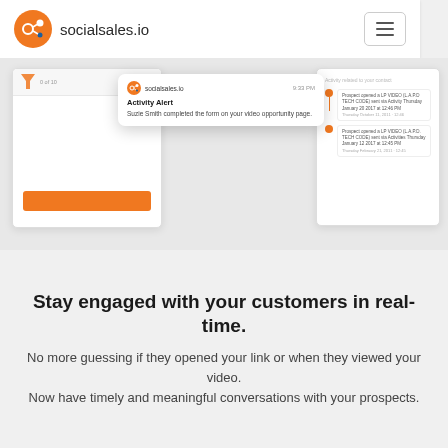socialsales.io
[Figure (screenshot): Screenshot of socialsales.io app interface showing an activity alert notification popup: 'Activity Alert - Suzie Smith completed the form on your video opportunity page.' with a timeline/activity feed on the right showing prospect activity entries.]
Stay engaged with your customers in real-time.
No more guessing if they opened your link or when they viewed your video. Now have timely and meaningful conversations with your prospects.